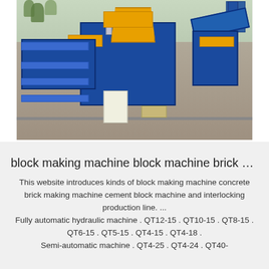[Figure (photo): Aerial/overhead photo of a blue and yellow block making machine / brick making machine production line set up outdoors on a concrete surface, with trees visible in the background.]
block making machine block machine brick …
This website introduces kinds of block making machine concrete brick making machine cement block machine and interlocking production line. ... Fully automatic hydraulic machine . QT12-15 . QT10-15 . QT8-15 . QT6-15 . QT5-15 . QT4-15 . QT4-18 . Semi-automatic machine . QT4-25 . QT4-24 . QT40-